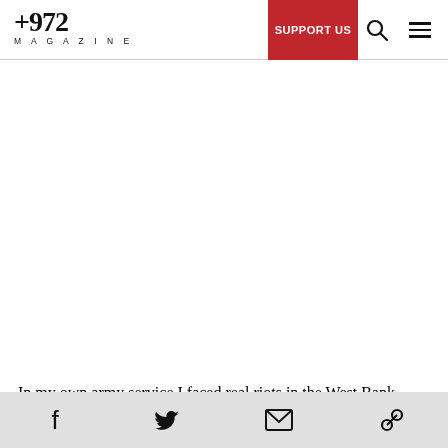+972 MAGAZINE | SUPPORT US
In my own army service I faced real riots in the West Bank, when hundreds of people were hurling stones at us in a small city alley. Scary as it was, we didn't
Social share bar: Facebook, Twitter, Email, Link